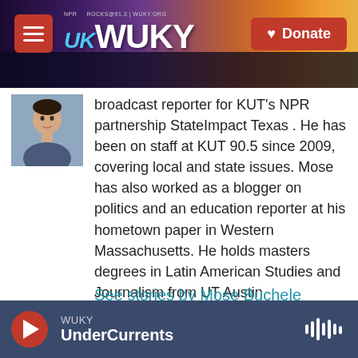WUKY NPR ROCKS@91.3 | WUKY.ORG — Donate
[Figure (photo): Headshot photo of Mose Buchele]
broadcast reporter for KUT's NPR partnership StateImpact Texas . He has been on staff at KUT 90.5 since 2009, covering local and state issues. Mose has also worked as a blogger on politics and an education reporter at his hometown paper in Western Massachusetts. He holds masters degrees in Latin American Studies and Journalism from UT Austin.
See stories by Mose Buchele
WUKY UnderCurrents